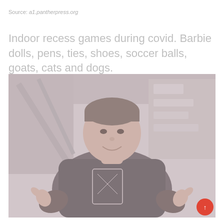Source: a1.pantherpress.org
Indoor recess games during covid. Barbie dolls, pens, ties, shoes, soccer balls, goats, cats and dogs.
[Figure (photo): A man in a dark jacket giving two thumbs up, smiling, at what appears to be a media event with branded backdrop. The image has a washed-out, faded appearance with pinkish-grey tones. A red circular scroll-to-top button is visible in the bottom right corner.]